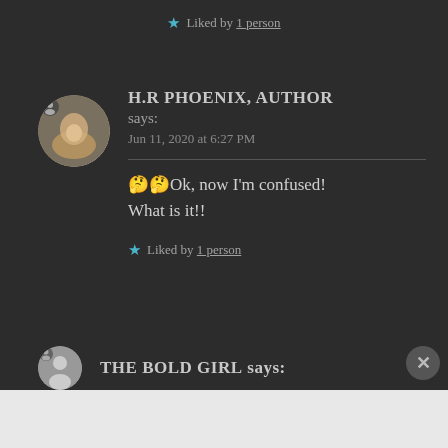★ Liked by 1 person
[Figure (photo): Circular avatar showing a cat paw being held by a human hand]
H.R PHOENIX, AUTHOR says:
Jun 11, 2020 at 6:27 PM
🤔🤔Ok, now I'm confused! What is it!!
★ Liked by 1 person
THE BOLD GIRL says:
Advertisements
[Figure (logo): Jetpack advertisement banner with green background, Jetpack logo, and 'Back up your site' button]